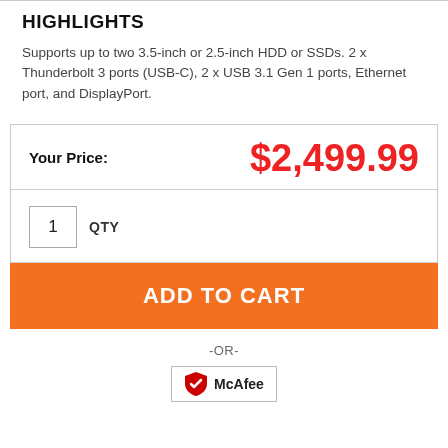HIGHLIGHTS
Supports up to two 3.5-inch or 2.5-inch HDD or SSDs. 2 x Thunderbolt 3 ports (USB-C), 2 x USB 3.1 Gen 1 ports, Ethernet port, and DisplayPort.
Your Price: $2,499.99
1 QTY
ADD TO CART
-OR-
[Figure (logo): McAfee logo badge with shield icon and McAfee text]